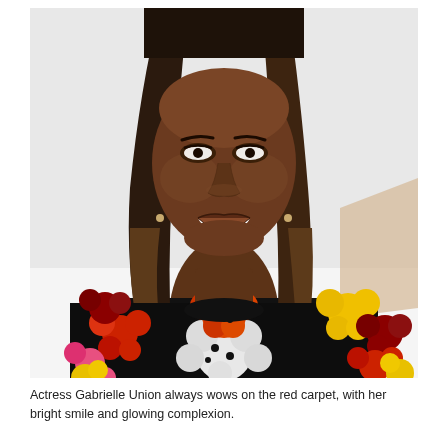[Figure (photo): Portrait photo of actress Gabrielle Union smiling, with long straight dark brown ombre hair, wearing a black floral dress with red, white, yellow, and pink flowers. White background.]
Actress Gabrielle Union always wows on the red carpet, with her bright smile and glowing complexion.